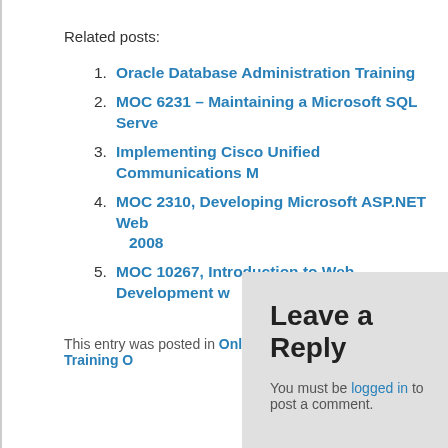Related posts:
Oracle Database Administration Training
MOC 6231 – Maintaining a Microsoft SQL Serve…
Implementing Cisco Unified Communications M…
MOC 2310, Developing Microsoft ASP.NET Web… 2008
MOC 10267, Introduction to Web Development w…
This entry was posted in Online Training Outlines, Oracle Training O…
Leave a Reply
You must be logged in to post a comment.